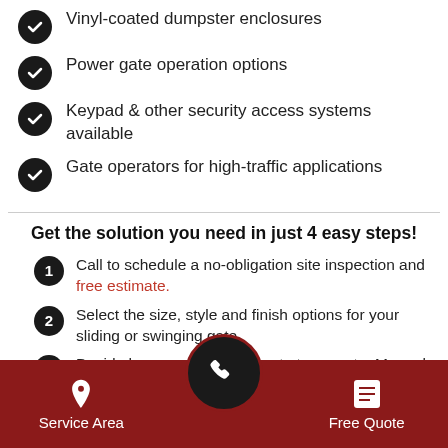Vinyl-coated dumpster enclosures
Power gate operation options
Keypad & other security access systems available
Gate operators for high-traffic applications
Get the solution you need in just 4 easy steps!
Call to schedule a no-obligation site inspection and free estimate.
Select the size, style and finish options for your sliding or swinging gate.
Decide how you want your gate to operate. Manual, keypad and other automated options are available.
Service Area | [phone] | Free Quote